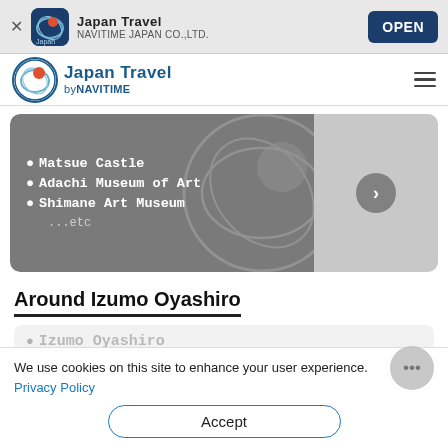Japan Travel — NAVITIME JAPAN CO.,LTD. — OPEN
[Figure (screenshot): Japan Travel by NAVITIME navigation logo and app header with hamburger menu icon]
[Figure (screenshot): Slide banner showing travel destinations: Matsue Castle, Adachi Museum of Art, Shimane Art Museum, ...etc with navigation arrow]
Around Izumo Oyashiro
[Figure (screenshot): Faded card showing Izumo Oyashiro, Inasanohama Beach, Susa Jinja Shrine destinations]
We use cookies on this site to enhance your user experience.
Privacy Policy
Accept